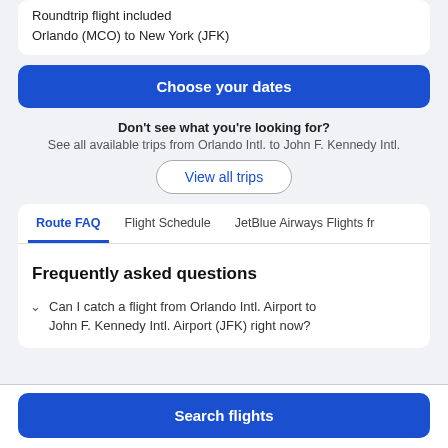Roundtrip flight included
Orlando (MCO) to New York (JFK)
Choose your dates
Don't see what you're looking for?
See all available trips from Orlando Intl. to John F. Kennedy Intl.
View all trips
Route FAQ
Flight Schedule
JetBlue Airways Flights fr
Frequently asked questions
Can I catch a flight from Orlando Intl. Airport to John F. Kennedy Intl. Airport (JFK) right now?
Search flights